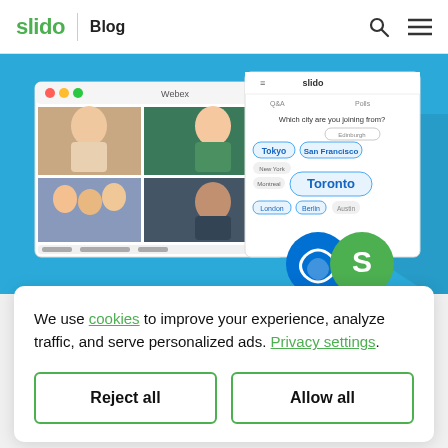slido | Blog
[Figure (screenshot): Screenshot of a video call interface (Webex/Zoom-like) with participant thumbnails and a Slido poll overlay showing city names like Tokyo, San Francisco, Toronto, London, Berlin, with Webex and Slido logos at the bottom. Set against a blue background.]
We use cookies to improve your experience, analyze traffic, and serve personalized ads. Privacy settings.
Reject all
Allow all